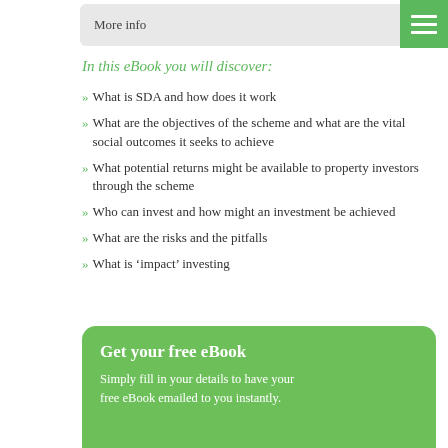[Figure (other): Green hamburger menu button in top-right corner]
More info
In this eBook you will discover:
» What is SDA and how does it work
» What are the objectives of the scheme and what are the vital social outcomes it seeks to achieve
» What potential returns might be available to property investors through the scheme
» Who can invest and how might an investment be achieved
» What are the risks and the pitfalls
» What is 'impact' investing
Get your free eBook
Simply fill in your details to have your free eBook emailed to you instantly.